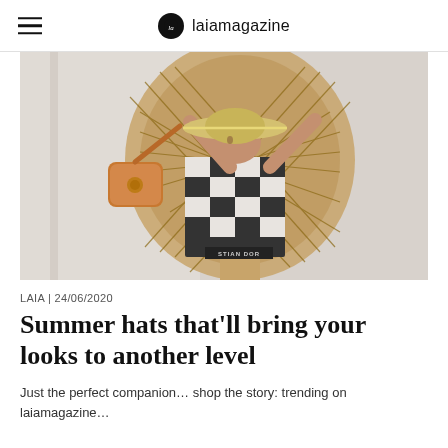laiamagazine
[Figure (photo): Woman in a black and white checked dress and straw hat sitting in a wicker peacock chair, holding up a tan leather crossbody bag with one arm raised]
LAIA | 24/06/2020
Summer hats that'll bring your looks to another level
Just the perfect companion… shop the story: trending on laiamagazine…